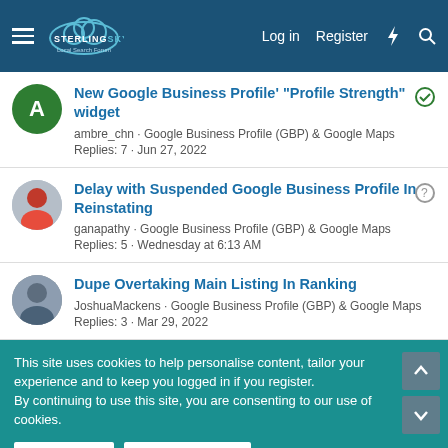Sterling Sky Local Search Forum — Log in | Register
New Google Business Profile' "Profile Strength" widget
ambre_chn · Google Business Profile (GBP) & Google Maps
Replies: 7 · Jun 27, 2022
Delay with Suspended Google Business Profile In Reinstating
ganapathy · Google Business Profile (GBP) & Google Maps
Replies: 5 · Wednesday at 6:13 AM
Dupe Overtaking Main Listing In Ranking
JoshuaMackens · Google Business Profile (GBP) & Google Maps
Replies: 3 · Mar 29, 2022
This site uses cookies to help personalise content, tailor your experience and to keep you logged in if you register.
By continuing to use this site, you are consenting to our use of cookies.